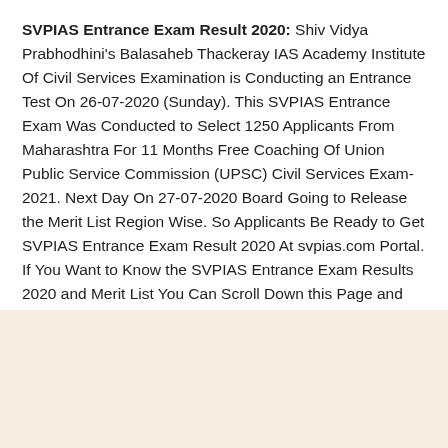SVPIAS Entrance Exam Result 2020: Shiv Vidya Prabhodhini's Balasaheb Thackeray IAS Academy Institute Of Civil Services Examination is Conducting an Entrance Test On 26-07-2020 (Sunday). This SVPIAS Entrance Exam Was Conducted to Select 1250 Applicants From Maharashtra For 11 Months Free Coaching Of Union Public Service Commission (UPSC) Civil Services Exam-2021. Next Day On 27-07-2020 Board Going to Release the Merit List Region Wise. So Applicants Be Ready to Get SVPIAS Entrance Exam Result 2020 At svpias.com Portal. If You Want to Know the SVPIAS Entrance Exam Results 2020 and Merit List You Can Scroll Down this Page and Find Direct Links.